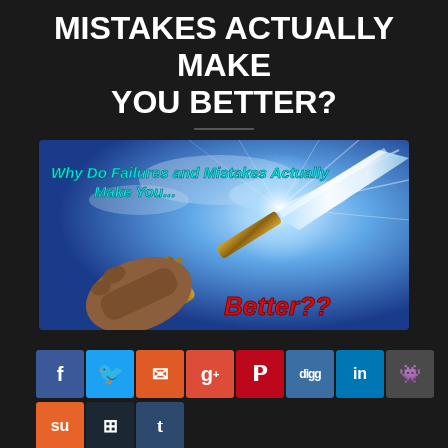MISTAKES ACTUALLY MAKE YOU BETTER?
[Figure (illustration): Promotional image showing a hand gripping a sword with a glowing blade against a blue sky background with text 'Why Do Failures and Mistakes Actually Make You... Better??']
[Figure (infographic): Social media share buttons row 1: Facebook, Twitter, Email, Google+, Pinterest, Digg, LinkedIn, Reddit]